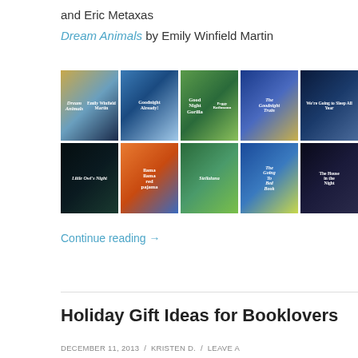and Eric Metaxas
Dream Animals by Emily Winfield Martin
[Figure (photo): A 2-row grid of 10 children's book covers including Dream Animals, Goodnight Already!, Good Night Gorilla, The Goodnight Train, We're Going to Sleep All Year, Little Owl's Night, Llama Llama Red Pajama, Stellaluna, The Going to Bed Book, and The House in the Night]
Continue reading →
Holiday Gift Ideas for Booklovers
DECEMBER 11, 2013 / KRISTEN D. / LEAVE A